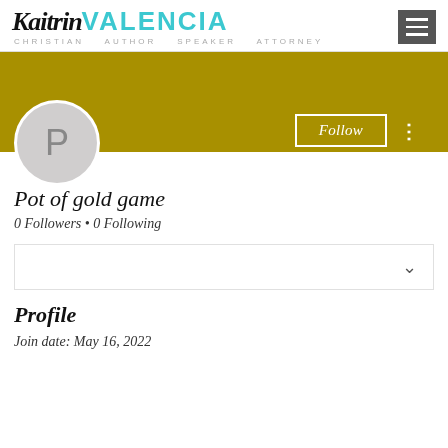Kaitrin VALENCIA — CHRISTIAN · AUTHOR · SPEAKER · ATTORNEY
[Figure (screenshot): Social media profile page showing gold banner, avatar with letter P, Follow button, profile name 'Pot of gold game', follower stats, dropdown box, and Profile section with join date]
Pot of gold game
0 Followers • 0 Following
Profile
Join date: May 16, 2022